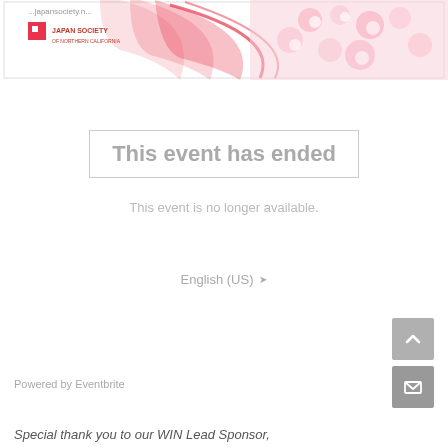[Figure (illustration): Banner image with Japan Society of Northern California logo on the left, red swoosh/wave graphic design element in center, and cherry blossom flowers on the right side]
This event has ended
This event is no longer available.
English (US) ▾
Powered by Eventbrite
Special thank you to our WIN Lead Sponsor,